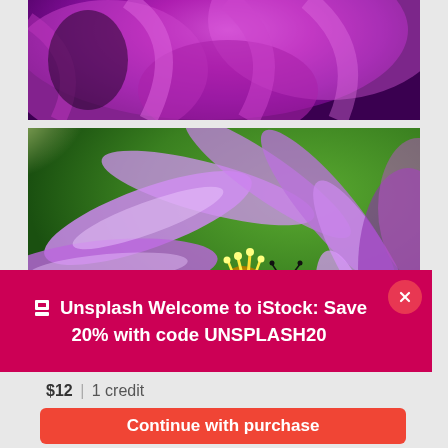[Figure (photo): Close-up of purple flower petals with dark background — top cropped photo]
[Figure (photo): Close-up macro photo of a purple/pink daisy flower with a ladybug on it and yellow stamens, green bokeh background]
🔲 Unsplash  Welcome to iStock: Save 20% with code UNSPLASH20
$12 | 1 credit
Continue with purchase